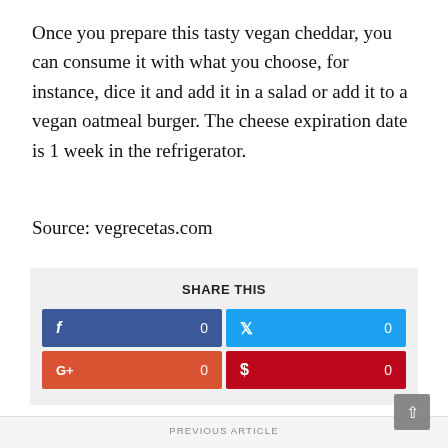Once you prepare this tasty vegan cheddar, you can consume it with what you choose, for instance, dice it and add it in a salad or add it to a vegan oatmeal burger. The cheese expiration date is 1 week in the refrigerator.
Source: vegrecetas.com
SHARE THIS
PREVIOUS ARTICLE